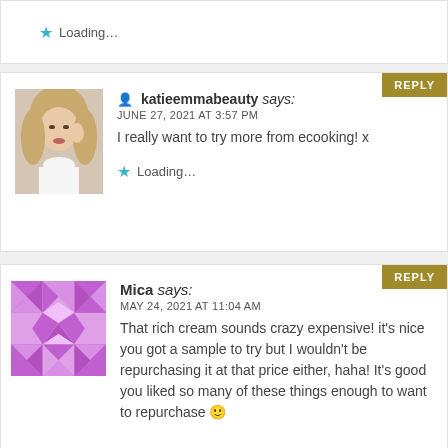Loading...
katieemmabeauty says: JUNE 27, 2021 AT 3:57 PM — I really want to try more from ecooking! x
Loading...
Mica says: MAY 24, 2021 AT 11:04 AM — That rich cream sounds crazy expensive! it's nice you got a sample to try but I wouldn't be repurchasing it at that price either, haha! It's good you liked so many of these things enough to want to repurchase 🙂